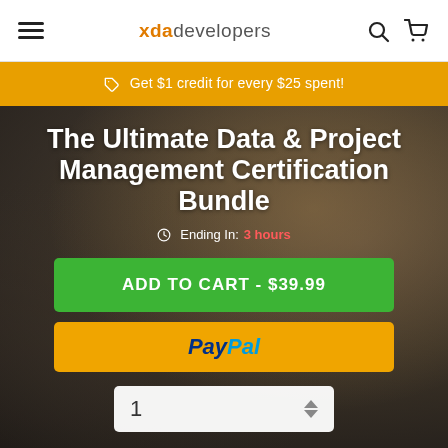xda developers
Get $1 credit for every $25 spent!
The Ultimate Data & Project Management Certification Bundle
Ending In: 3 hours
ADD TO CART - $39.99
[Figure (logo): PayPal payment button logo]
1